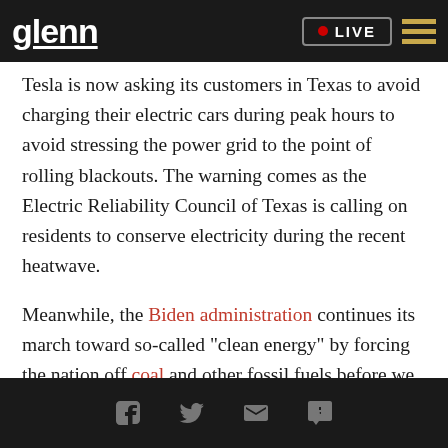glenn LIVE
Tesla is now asking its customers in Texas to avoid charging their electric cars during peak hours to avoid stressing the power grid to the point of rolling blackouts. The warning comes as the Electric Reliability Council of Texas is calling on residents to conserve electricity during the recent heatwave.
Meanwhile, the Biden administration continues its march toward so-called "clean energy" by forcing the nation off coal and other fossil fuels before we have a viable replacement. Instead of switching to reliable nuclear and hydropower, our delusional
Social share icons: Facebook, Twitter, Email, SMS